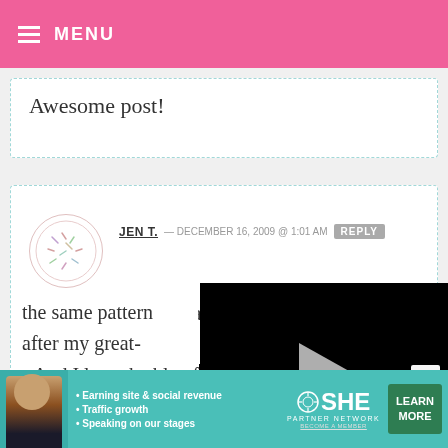≡ MENU
Awesome post!
JEN T. — DECEMBER 16, 2009 @ 1:01 AM  REPLY
Your granny was beautiful! Such a babe!

And I love the blue f[lower dress]... your unc[le wearing]... I inherite[d]...

the same pattern after my great-
[Figure (screenshot): Black video player overlay with grey triangular play button in center]
[Figure (infographic): SHE Partner Network advertisement banner: teal background with woman photo, bullet points about earning site & social revenue, traffic growth, speaking on stages, SHE logo with gear, LEARN MORE green button]